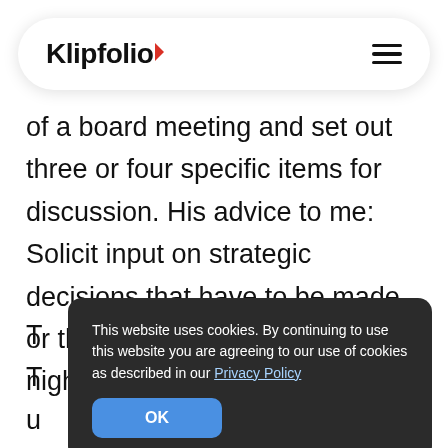Klipfolio
of a board meeting and set out three or four specific items for discussion. His advice to me: Solicit input on strategic decisions that have to be made, or the issues that keep me up at night.
T... ctical: T... u... y time, what makes me uncomfortable, or
[Figure (screenshot): Cookie consent banner popup with dark background reading: 'This website uses cookies. By continuing to use this website you are agreeing to our use of cookies as described in our Privacy Policy' with an OK button]